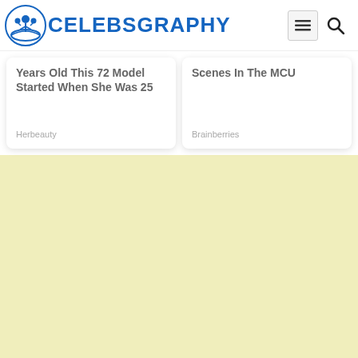CELEBSGRAPHY
Years Old This 72 Model Started When She Was 25
Herbeauty
Scenes In The MCU
Brainberries
[Figure (other): Yellow/cream colored advertisement placeholder area]